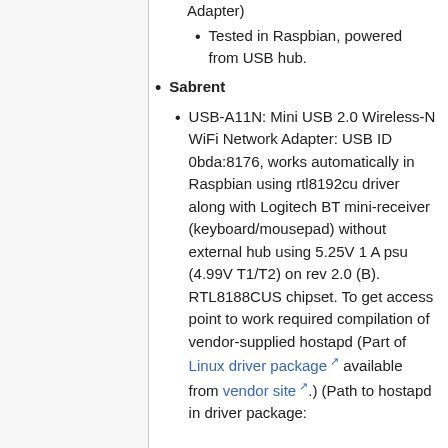Adapter)
Tested in Raspbian, powered from USB hub.
Sabrent
USB-A11N: Mini USB 2.0 Wireless-N WiFi Network Adapter: USB ID 0bda:8176, works automatically in Raspbian using rtl8192cu driver along with Logitech BT mini-receiver (keyboard/mousepad) without external hub using 5.25V 1 A psu (4.99V T1/T2) on rev 2.0 (B). RTL8188CUS chipset. To get access point to work required compilation of vendor-supplied hostapd (Part of Linux driver package available from vendor site.) (Path to hostapd in driver package: